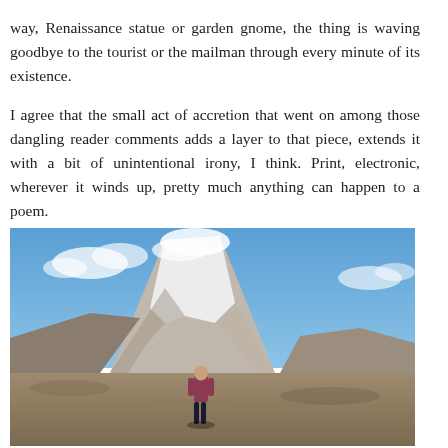way, Renaissance statue or garden gnome, the thing is waving goodbye to the tourist or the mailman through every minute of its existence.
I agree that the small act of accretion that went on among those dangling reader comments adds a layer to that piece, extends it with a bit of unintentional irony, I think. Print, electronic, wherever it winds up, pretty much anything can happen to a poem.
[Figure (photo): A person in a red/maroon jacket standing on a flat brown plain in front of a large snow-capped volcano (possibly Cotopaxi) under a blue sky with some clouds.]